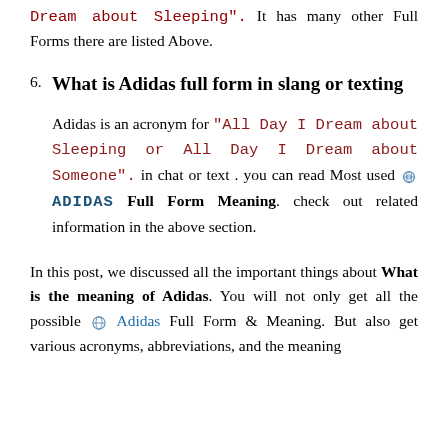Dream about Sleeping". It has many other Full Forms there are listed Above.
6. What is Adidas full form in slang or texting
Adidas is an acronym for "All Day I Dream about Sleeping or All Day I Dream about Someone". in chat or text . you can read Most used ADIDAS Full Form Meaning. check out related information in the above section.
In this post, we discussed all the important things about What is the meaning of Adidas. You will not only get all the possible Adidas Full Form & Meaning. But also get various acronyms, abbreviations, and the meaning